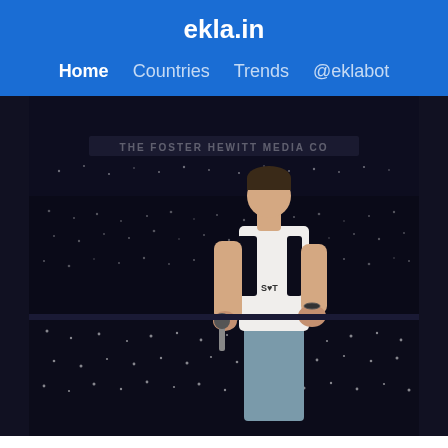ekla.in
Home  Countries  Trends  @eklabot
[Figure (photo): A performer in a white sleeveless top and grey pants stands on a concert stage holding a microphone, facing a massive crowd in a stadium with lights in the background. Text 'THE FOSTER HEWITT MEDIA CO' is partially visible in the upper background.]